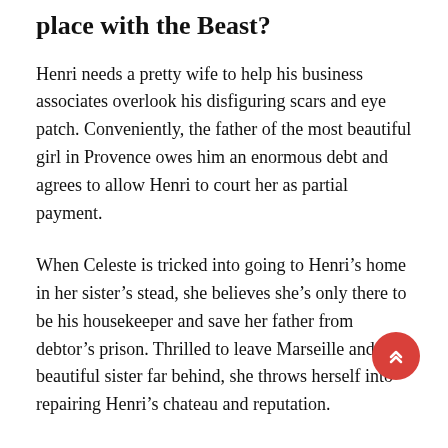place with the Beast?
Henri needs a pretty wife to help his business associates overlook his disfiguring scars and eye patch. Conveniently, the father of the most beautiful girl in Provence owes him an enormous debt and agrees to allow Henri to court her as partial payment.
When Celeste is tricked into going to Henri’s home in her sister’s stead, she believes she’s only there to be his housekeeper and save her father from debtor’s prison. Thrilled to leave Marseille and her beautiful sister far behind, she throws herself into repairing Henri’s chateau and reputation.
When Celeste’s work uncovers the secrets of Henri’s